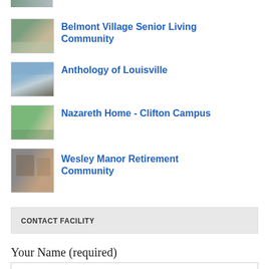[Figure (photo): Partial image of a building at top of page (cropped)]
Belmont Village Senior Living Community
Anthology of Louisville
Nazareth Home - Clifton Campus
Wesley Manor Retirement Community
CONTACT FACILITY
Your Name (required)